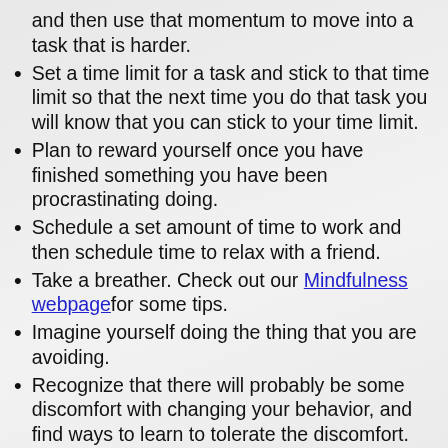and then use that momentum to move into a task that is harder.
Set a time limit for a task and stick to that time limit so that the next time you do that task you will know that you can stick to your time limit.
Plan to reward yourself once you have finished something you have been procrastinating doing.
Schedule a set amount of time to work and then schedule time to relax with a friend.
Take a breather. Check out our Mindfulness webpagefor some tips.
Imagine yourself doing the thing that you are avoiding.
Recognize that there will probably be some discomfort with changing your behavior, and find ways to learn to tolerate the discomfort.